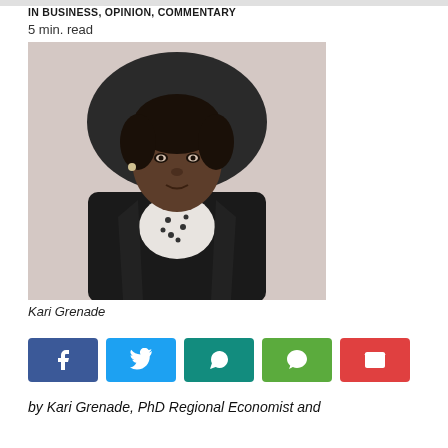In Business, Opinion, Commentary
5 min. read
[Figure (photo): Portrait photo of Kari Grenade, a woman in a black blazer with pearl necklace, seated in front of a dark chair, photographed in a professional setting.]
Kari Grenade
Social share buttons: Facebook, Twitter, WhatsApp, WeChat, Email
by Kari Grenade, PhD Regional Economist and